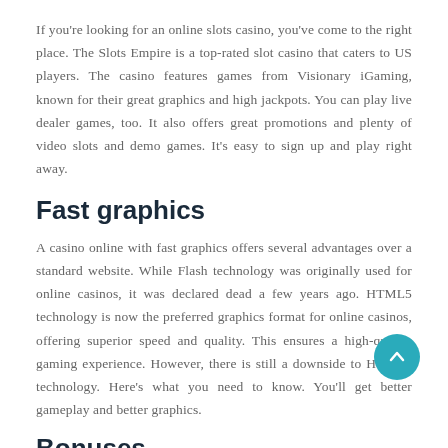If you're looking for an online slots casino, you've come to the right place. The Slots Empire is a top-rated slot casino that caters to US players. The casino features games from Visionary iGaming, known for their great graphics and high jackpots. You can play live dealer games, too. It also offers great promotions and plenty of video slots and demo games. It's easy to sign up and play right away.
Fast graphics
A casino online with fast graphics offers several advantages over a standard website. While Flash technology was originally used for online casinos, it was declared dead a few years ago. HTML5 technology is now the preferred graphics format for online casinos, offering superior speed and quality. This ensures a high-quality gaming experience. However, there is still a downside to HTML5 technology. Here's what you need to know. You'll get better gameplay and better graphics.
Bonuses
If you are looking to play an online casino from...